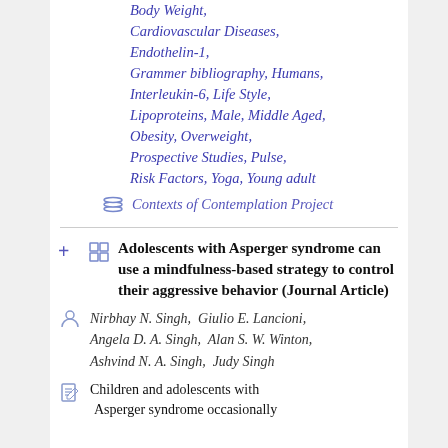Body Weight, Cardiovascular Diseases, Endothelin-1, Grammer bibliography, Humans, Interleukin-6, Life Style, Lipoproteins, Male, Middle Aged, Obesity, Overweight, Prospective Studies, Pulse, Risk Factors, Yoga, Young adult
Contexts of Contemplation Project
Adolescents with Asperger syndrome can use a mindfulness-based strategy to control their aggressive behavior (Journal Article)
Nirbhay N. Singh, Giulio E. Lancioni, Angela D. A. Singh, Alan S. W. Winton, Ashvind N. A. Singh, Judy Singh
Children and adolescents with Asperger syndrome occasionally